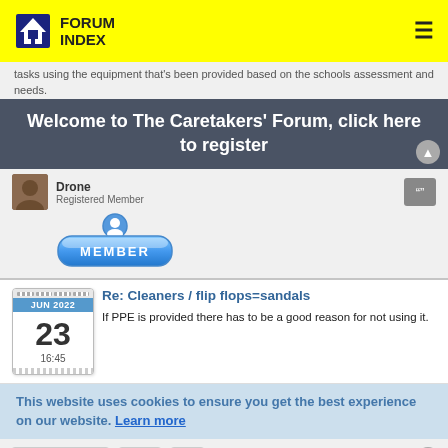Forum Index
tasks using the equipment that's been provided based on the schools assessment and needs.
Welcome to The Caretakers' Forum, click here to register
Drone
Registered Member
[Figure (illustration): Blue glossy MEMBER badge button with person icon]
Re: Cleaners / flip flops=sandals
JUN 2022
23
16:45
If PPE is provided there has to be a good reason for not using it.
This website uses cookies to ensure you get the best experience on our website. Learn more
Post Reply
13 posts  1  2
Jump to